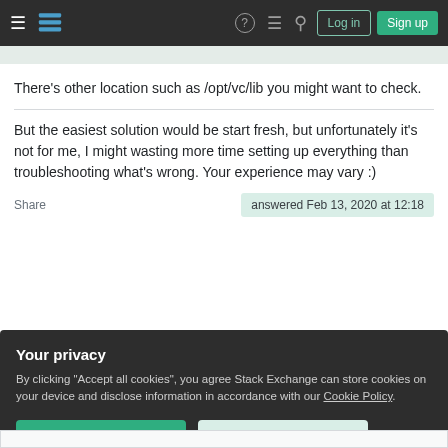Stack Exchange navigation bar with hamburger menu, logo, help, chat, search icons, Log in and Sign up buttons
There's other location such as /opt/vc/lib you might want to check.
But the easiest solution would be start fresh, but unfortunately it's not for me, I might wasting more time setting up everything than troubleshooting what's wrong. Your experience may vary :)
Share
answered Feb 13, 2020 at 12:18
Your privacy
By clicking "Accept all cookies", you agree Stack Exchange can store cookies on your device and disclose information in accordance with our Cookie Policy.
Accept all cookies
Customize settings